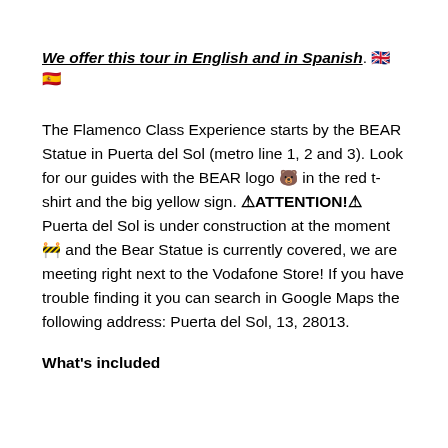We offer this tour in English and in Spanish. 🇬🇧 🇪🇸
The Flamenco Class Experience starts by the BEAR Statue in Puerta del Sol (metro line 1, 2 and 3). Look for our guides with the BEAR logo 🐻 in the red t-shirt and the big yellow sign. ⚠ATTENTION!⚠ Puerta del Sol is under construction at the moment 🚧 and the Bear Statue is currently covered, we are meeting right next to the Vodafone Store! If you have trouble finding it you can search in Google Maps the following address: Puerta del Sol, 13, 28013.
What's included